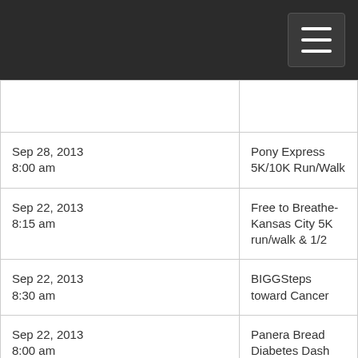| Date/Time | Event |
| --- | --- |
|  |  |
| Sep 28, 2013
8:00 am | Pony Express 5K/10K Run/Walk |
| Sep 22, 2013
8:15 am | Free to Breathe-Kansas City 5K run/walk & 1/2 |
| Sep 22, 2013
8:30 am | BIGGSteps toward Cancer |
| Sep 22, 2013
8:00 am | Panera Bread Diabetes Dash |
| Sep 21, 2013
6:00 pm | Blazin' the Burg 5K Run/walk |